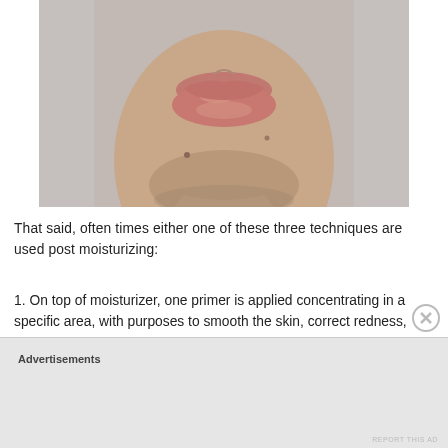[Figure (photo): Close-up photo of a person's lower face showing lips, chin, and neck area against a light gray background. The subject has medium-brown skin.]
That said, often times either one of these three techniques are used post moisturizing:
On top of moisturizer, one primer is applied concentrating in a specific area, with purposes to smooth the skin, correct redness, provide a healthy glow, mattify, or further hydrate. The best example of this is…
Advertisements